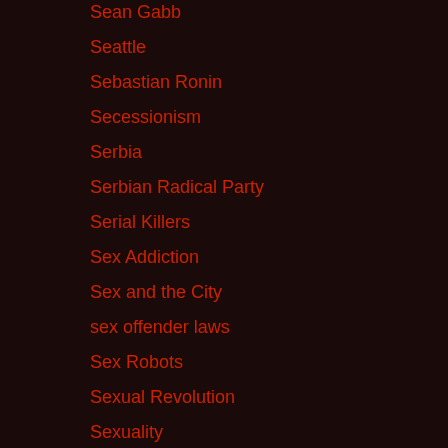Sean Gabb
Seattle
Sebastian Ronin
Secessionism
Serbia
Serbian Radical Party
Serial Killers
Sex Addiction
Sex and the City
sex offender laws
Sex Robots
Sexual Revolution
Sexuality
Shane Eide
Shankar Singam